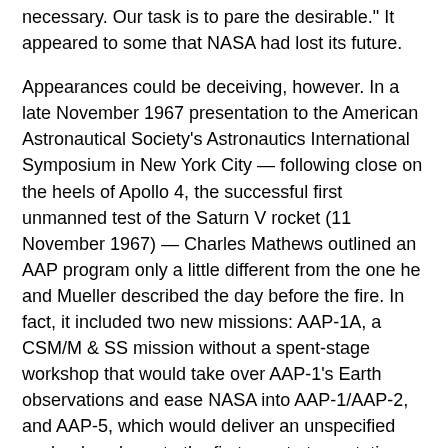necessary. Our task is to pare the desirable." It appeared to some that NASA had lost its future.
Appearances could be deceiving, however. In a late November 1967 presentation to the American Astronautical Society's Astronautics International Symposium in New York City — following close on the heels of Apollo 4, the successful first unmanned test of the Saturn V rocket (11 November 1967) — Charles Mathews outlined an AAP program only a little different from the one he and Mueller described the day before the fire. In fact, it included two new missions: AAP-1A, a CSM/M & SS mission without a spent-stage workshop that would take over AAP-1's Earth observations and ease NASA into AAP-1/AAP-2, and AAP-5, which would deliver an unspecified payload package to the first spent-stage station and extend astronaut orbital stay-time past 56 days.
In the new plan, AAP-1 and AAP-2 traded places; that is, the spent-stage workshop would reach space first and be designated AAP-1. Mathews also gave brief mention to two undesignated missions: these would see launch of a piloted